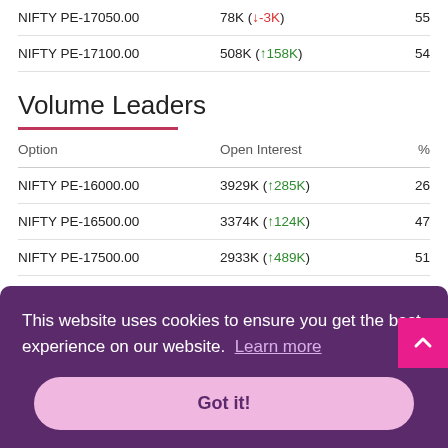| Option | Open Interest | % |
| --- | --- | --- |
| NIFTY PE-17050.00 | 78K (↓-3K) | 55 |
| NIFTY PE-17100.00 | 508K (↑158K) | 54 |
Volume Leaders
| Option | Open Interest | % |
| --- | --- | --- |
| NIFTY PE-16000.00 | 3929K (↑285K) | 26 |
| NIFTY PE-16500.00 | 3374K (↑124K) | 47 |
| NIFTY PE-17500.00 | 2933K (↑489K) | 51 |
| NIFTY PE-17000.00 | 2557K (↑8K) | 59 |
This website uses cookies to ensure you get the best experience on our website. Learn more
Got it!